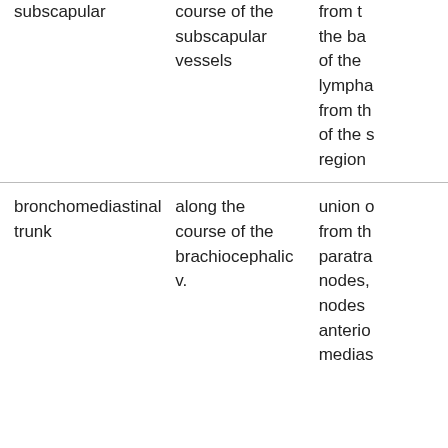| subscapular | course of the subscapular vessels | from the back of the lympha... from the of the s... region |
| bronchomediastinal trunk | along the course of the brachiocephalic v. | union of from th paratracheal nodes, nodes anterior medias... |